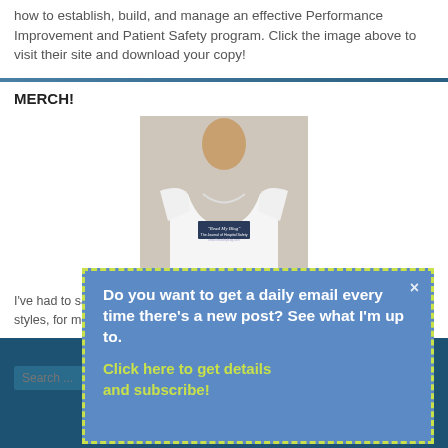how to establish, build, and manage an effective Performance Improvement and Patient Safety program. Click the image above to visit their site and download your copy!
MERCH!
[Figure (photo): Man wearing a white t-shirt with 'Read My Blog' printed on it, against a light gray background]
I've had to say it so many times. Finally made it a shirt! Available in multiple styles, for men and women. Click here to check out the store!
Do you want to get a daily email every time there's a new post? See what I'm up to.
Click here to get details and subscribe!